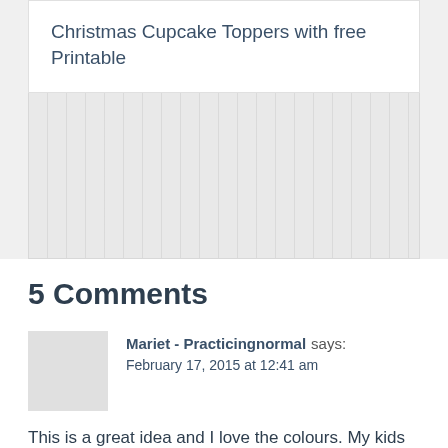Christmas Cupcake Toppers with free Printable
5 Comments
Mariet - Practicingnormal says: February 17, 2015 at 12:41 am
This is a great idea and I love the colours. My kids love Dr. Seuss and we use the books to practicing